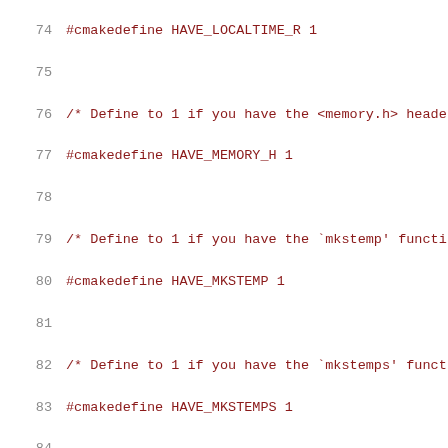74  #cmakedefine HAVE_LOCALTIME_R 1
75
76  /* Define to 1 if you have the <memory.h> header file. */
77  #cmakedefine HAVE_MEMORY_H 1
78
79  /* Define to 1 if you have the `mkstemp' function. */
80  #cmakedefine HAVE_MKSTEMP 1
81
82  /* Define to 1 if you have the `mkstemps' function. */
83  #cmakedefine HAVE_MKSTEMPS 1
84
85  /* Define to 1 if you have the `rand_r' function. */
86  #cmakedefine HAVE_RAND_R 1
87
88  /* Define to 1 if you have the <ndir.h> header file. */
89  #cmakedefine HAVE_NDIR_H 1
90
91  /* Define to 1 if you have the <openjpeg.h> header file. */
92  #cmakedefine HAVE_OPENJPEG_H 1
93
94  /* Define to 1 if you have the `popen' function. */
95  #cmakedefine HAVE_POPEN 1